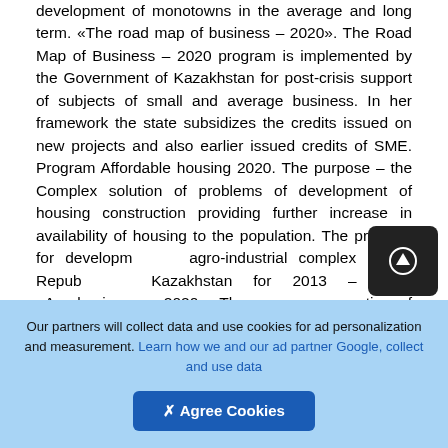development of monotowns in the average and long term. «The road map of business – 2020». The Road Map of Business – 2020 program is implemented by the Government of Kazakhstan for post-crisis support of subjects of small and average business. In her framework the state subsidizes the credits issued on new projects and also earlier issued credits of SME. Program Affordable housing 2020. The purpose – the Complex solution of problems of development of housing construction providing further increase in availability of housing to the population. The program for development agro-industrial complex in the Republic Kazakhstan for 2013 – 2020 «Agrobusiness – 2020». The purpose – creation of conditions for increase in competitiveness of subjects of agro-industrial
[Figure (other): Circular scroll-to-top button with upward arrow icon on dark background]
Our partners will collect data and use cookies for ad personalization and measurement. Learn how we and our ad partner Google, collect and use data
✖ Agree Cookies